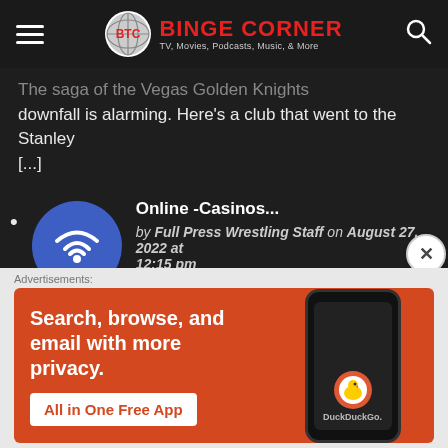BINGE CORNER — TV, Movies, Podcasts, Music, & More
The saga of the Vegas Golden Knights downfall is alarming. Here's a club that went to the Stanley [...]
Online -Casinos... by Full Press Wrestling Staff on August 27, 2022 at 12:15 pm — E.g., BETMGM und Caesars werden voraussichtlich Casinos im Land gefunden. Ehemalige große Online [...]
[Figure (other): DuckDuckGo advertisement banner: orange background with text 'Search, browse, and email with more privacy. All in One Free App' and a phone mockup showing DuckDuckGo logo.]